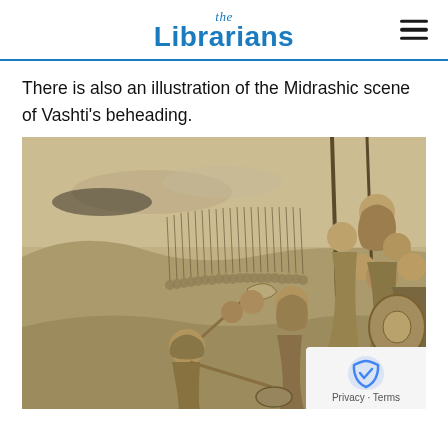the Librarians
There is also an illustration of the Midrashic scene of Vashti's beheading.
[Figure (illustration): A historical etching/illustration depicting the Midrashic scene of Vashti's beheading. Shows a helmeted executioner raising a curved sword, a crowd of soldiers with spears and shields in the background, and several figures in robes looking on.]